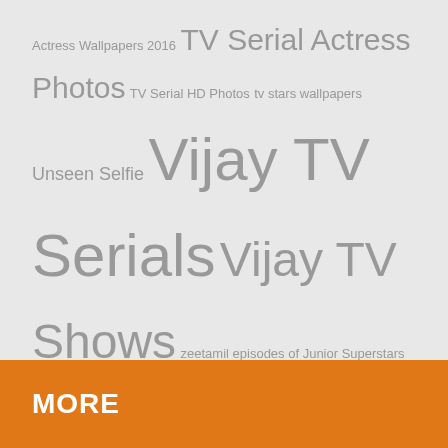Actress Wallpapers 2016 TV Serial Actress Photos TV Serial HD Photos tv stars wallpapers Unseen Selfie Vijay TV Serials Vijay TV Shows zeetamil episodes of Junior Superstars
SUBSCRIBE TO BLOG VIA EMAIL
Enter your email address to subscribe to this blog and receive notifications of new posts by email.
Join 192 other subscribers
Email Address
Subscribe
MORE